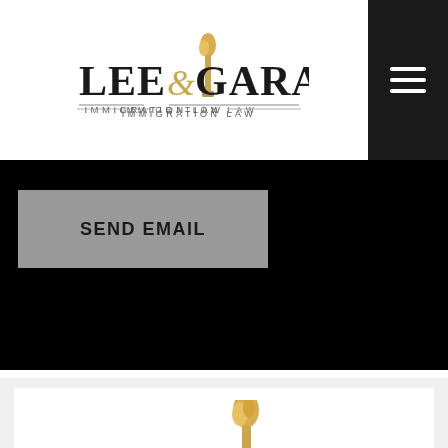[Figure (logo): Lee & Garasia Immigration Law logo with torch icon in header]
[Figure (screenshot): Navigation hamburger menu icon (three white lines) on dark background]
SEND EMAIL
[Figure (logo): Lee & Garasia Immigration Law logo large version in white card]
REVIEW US